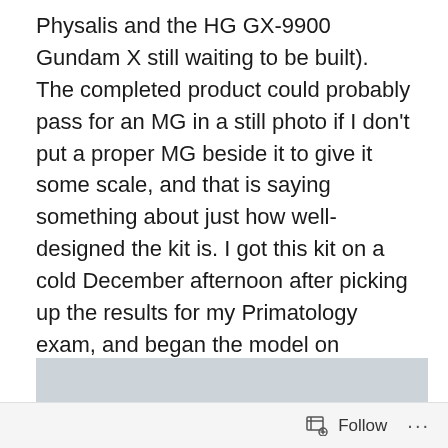Physalis and the HG GX-9900 Gundam X still waiting to be built). The completed product could probably pass for an MG in a still photo if I don't put a proper MG beside it to give it some scale, and that is saying something about just how well-designed the kit is. I got this kit on a cold December afternoon after picking up the results for my Primatology exam, and began the model on Christmas Day. However, I wouldn't finish the kit until a few days later, as I was out capitalising on the Boxing Day sales and was installing a new LED TV on the 27th. The kit was finished on the 28th, and since then, has been complementing the Unicorn on my bookcase.
[Figure (photo): Partial view of a photo showing a light gray/blue background with an orange or red object visible in the lower right corner, likely a Gundam model part or the model itself.]